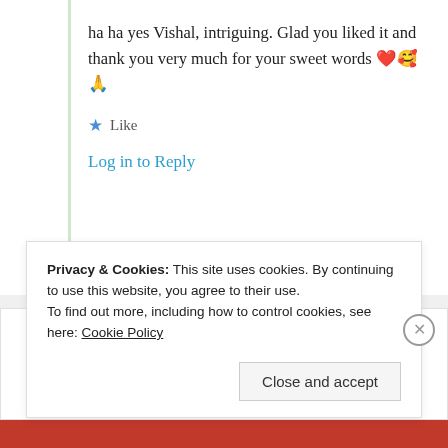ha ha yes Vishal, intriguing. Glad you liked it and thank you very much for your sweet words ❤️🥰🙏
★ Like
Log in to Reply
Aparna
27th Aug 2021 at 10:27 am
Privacy & Cookies: This site uses cookies. By continuing to use this website, you agree to their use.
To find out more, including how to control cookies, see here: Cookie Policy
Close and accept